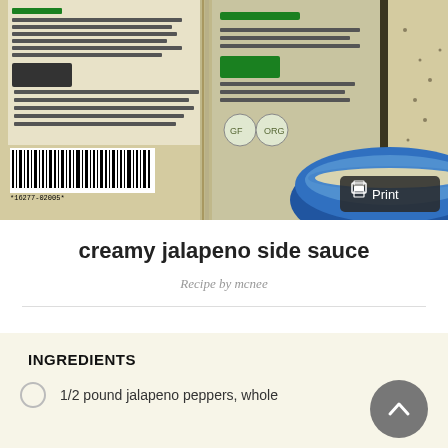[Figure (photo): Photo of creamy jalapeno sauce jars and a blue bowl on a countertop, with product labels and barcode visible. A print button overlay is in the bottom-right corner of the photo.]
creamy jalapeno side sauce
Recipe by mcnee
INGREDIENTS
1/2 pound jalapeno peppers, whole